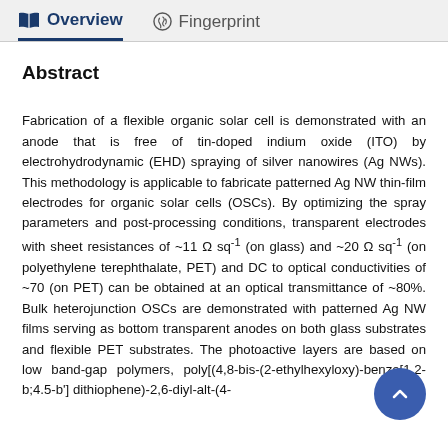Overview   Fingerprint
Abstract
Fabrication of a flexible organic solar cell is demonstrated with an anode that is free of tin-doped indium oxide (ITO) by electrohydrodynamic (EHD) spraying of silver nanowires (Ag NWs). This methodology is applicable to fabricate patterned Ag NW thin-film electrodes for organic solar cells (OSCs). By optimizing the spray parameters and post-processing conditions, transparent electrodes with sheet resistances of ~11 Ω sq⁻¹ (on glass) and ~20 Ω sq⁻¹ (on polyethylene terephthalate, PET) and DC to optical conductivities of ~70 (on PET) can be obtained at an optical transmittance of ~80%. Bulk heterojunction OSCs are demonstrated with patterned Ag NW films serving as bottom transparent anodes on both glass substrates and flexible PET substrates. The photoactive layers are based on low band-gap polymers, poly[(4,8-bis-(2-ethylhexyloxy)-benzo[1,2-b;4.5-b'] dithiophene)-2,6-diyl-alt-(4-